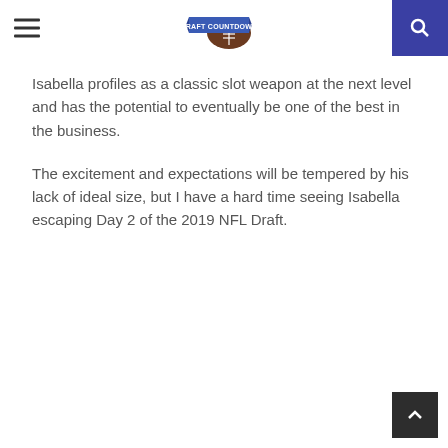Draft Countdown
Isabella profiles as a classic slot weapon at the next level and has the potential to eventually be one of the best in the business.
The excitement and expectations will be tempered by his lack of ideal size, but I have a hard time seeing Isabella escaping Day 2 of the 2019 NFL Draft.